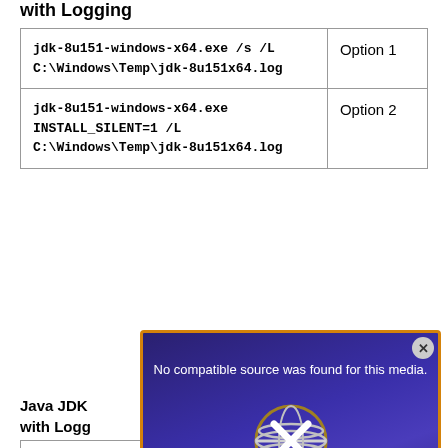with Logging
| Command | Option |
| --- | --- |
| jdk-8u151-windows-x64.exe /s /L C:\Windows\Temp\jdk-8u151x64.log | Option 1 |
| jdk-8u151-windows-x64.exe INSTALL_SILENT=1 /L C:\Windows\Temp\jdk-8u151x64.log | Option 2 |
Java JDK ... with Logging
| Command |
| --- |
| MsiExec ... "%WINDIR%\Temp\jdk-8u151x64.log" |
[Figure (screenshot): Video overlay with text 'No compatible source was found for this media.' and title 'CHANGE JRE & JDK TUTORIAL' with a globe/sphere graphic and X button]